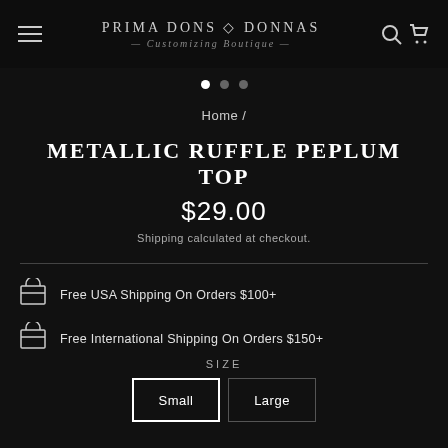Prima Dons Donnas — Customizing Boutique
Home /
METALLIC RUFFLE PEPLUM TOP
$29.00
Shipping calculated at checkout.
Free USA Shipping On Orders $100+
Free International Shipping On Orders $150+
SIZE
Small
Large